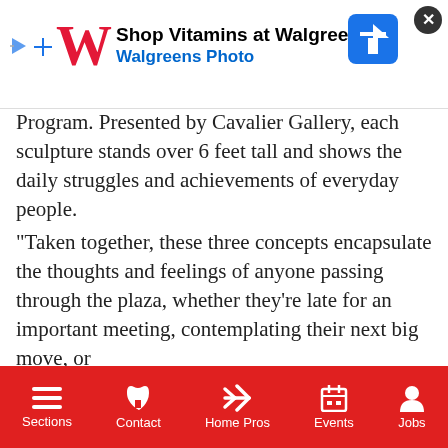[Figure (screenshot): Walgreens advertisement banner with logo W, text 'Shop Vitamins at Walgreens' and 'Walgreens Photo', navigation arrow icon, and close X button]
Program. Presented by Cavalier Gallery, each sculpture stands over 6 feet tall and shows the daily struggles and achievements of everyday people.
“Taken together, these three concepts encapsulate the thoughts and feelings of anyone passing through the plaza, whether they’re late for an important meeting, contemplating their next big move, or [partially visible] nert. “When a visitor sees [partially visible] n as a kindred spirit doing [partially visible] veryone wears a suit, I
[Figure (screenshot): Video popup overlay showing Big Brother's Joseph Adbin On His Exit Fr... with a thumbnail of a young man, mute button, and Entertainment watermark]
to the fast-paced life of
Sections | Contact | Home Pros | Events | Jobs